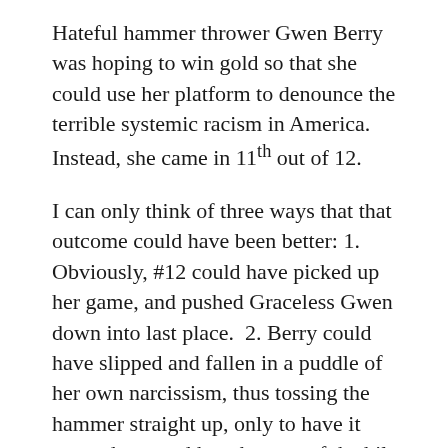Hateful hammer thrower Gwen Berry was hoping to win gold so that she could use her platform to denounce the terrible systemic racism in America.  Instead, she came in 11th out of 12.
I can only think of three ways that that outcome could have been better: 1. Obviously, #12 could have picked up her game, and pushed Graceless Gwen down into last place.  2. Berry could have slipped and fallen in a puddle of her own narcissism, thus tossing the hammer straight up, only to have it come down and knock some of the bile out of her by landing on her thick yet empty head.